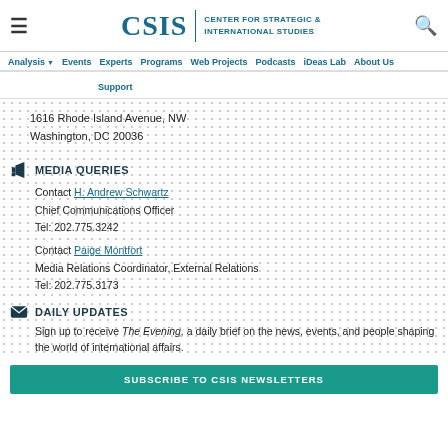CSIS | CENTER FOR STRATEGIC & INTERNATIONAL STUDIES
Analysis Events Experts Programs Web Projects Podcasts iDeas Lab About Us Support
1616 Rhode Island Avenue, NW
Washington, DC 20036
MEDIA QUERIES
Contact H. Andrew Schwartz
Chief Communications Officer
Tel: 202.775.3242
Contact Paige Montfort
Media Relations Coordinator, External Relations
Tel: 202.775.3173
DAILY UPDATES
Sign up to receive The Evening, a daily brief on the news, events, and people shaping the world of international affairs.
SUBSCRIBE TO CSIS NEWSLETTERS